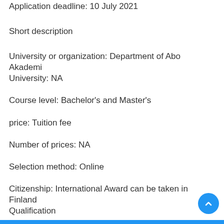Application deadline: 10 July 2021
Short description
University or organization: Department of Abo Akademi University: NA
Course level: Bachelor's and Master's
price: Tuition fee
Number of prices: NA
Selection method: Online
Citizenship: International Award can be taken in Finland Qualification